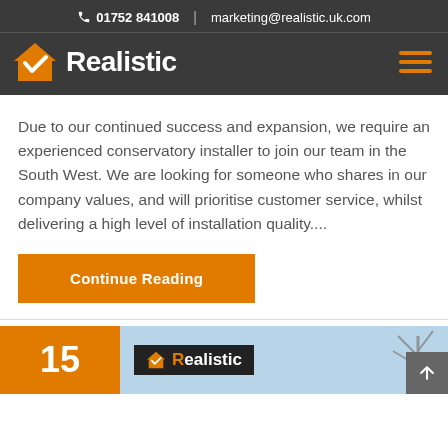📞 01752 841008  |  marketing@realistic.uk.com
[Figure (logo): Realistic company logo with orange house/checkmark icon and white bold text 'Realistic' on dark background, with hamburger menu icon on right]
Due to our continued success and expansion, we require an experienced conservatory installer to join our team in the South West. We are looking for someone who shares in our company values, and will prioritise customer service, whilst delivering a high level of installation quality....
Continue Reading
[Figure (photo): Bottom strip showing an orange badge with number 15 and a photo of a Realistic branded shop/building exterior with trees in background]